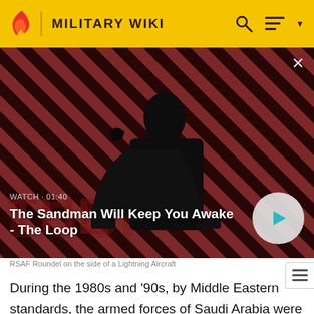MILITARY WIKI
[Figure (screenshot): Video thumbnail showing a dark-cloaked figure with a raven on shoulder against red and black diagonal stripe background. Title: The Sandman Will Keep You Awake - The Loop. Watch duration: 01:40.]
RSAF Roundel on the side of a Lightning Aircraft
During the 1980s and '90s, by Middle Eastern standards, the armed forces of Saudi Arabia were relatively small. Its strength however was derived from advanced technology. The backbone of the fighter force is formed